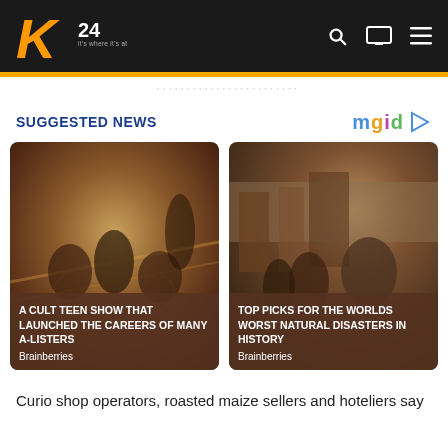[Figure (screenshot): K24 TV website header with logo (K24), search icon, TV icon, and hamburger menu on dark background with yellow bar below]
SUGGESTED NEWS
[Figure (photo): Thumbnail card 1: teen cast on gym floor with overlay text 'A CULT TEEN SHOW THAT LAUNCHED THE CAREERS OF MANY A-LISTERS' and source 'Brainberries']
[Figure (photo): Thumbnail card 2: people pushing in a natural disaster scene with overlay text 'TOP PICKS FOR THE WORLDS WORST NATURAL DISASTERS IN HISTORY' and source 'Brainberries']
Curio shop operators, roasted maize sellers and hoteliers say